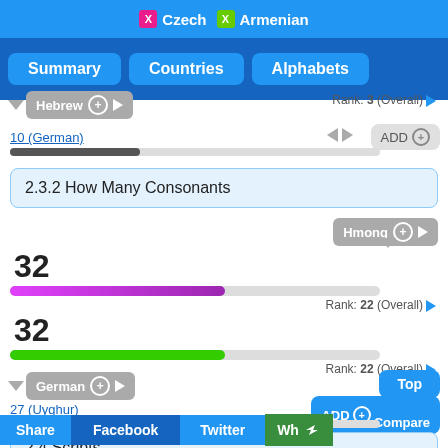Czech  Armenian
Summary  Countries  Alphabets
Rank: 3 (Overall)
Hebrew
10 (German)
ADD
2.3.2 How Many Consonants
Hmong
32
Rank: 22 (Overall)
32
Rank: 22 (Overall)
German
27 (Uyghur)
ADD
Top
ADD Compare
2.4 Scripts
Share  Facebook  Twitter  Wh